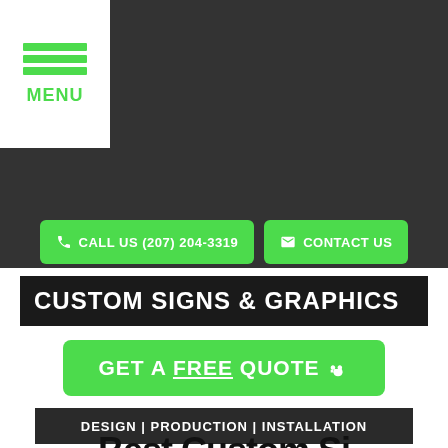MENU
CALL US (207) 204-3319
CONTACT US
CUSTOM SIGNS & GRAPHICS
GET A FREE QUOTE
DESIGN | PRODUCTION | INSTALLATION
Best Custom Si…